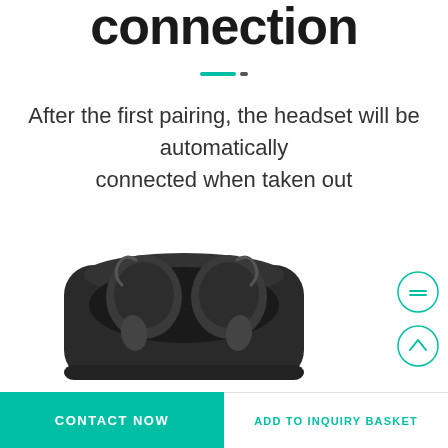connection
After the first pairing, the headset will be automatically connected when taken out
[Figure (photo): Black wireless earbuds in an open charging case, viewed from above, showing two earbuds nestled in the case]
CONTACT NOW
ADD TO INQUIRY BASKET